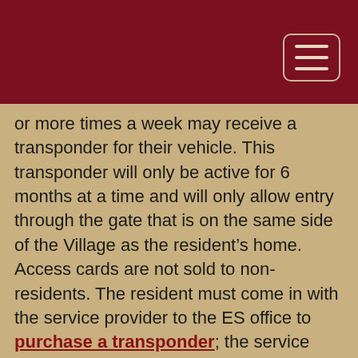or more times a week may receive a transponder for their vehicle. This transponder will only be active for 6 months at a time and will only allow entry through the gate that is on the same side of the Village as the resident’s home. Access cards are not sold to non-residents. The resident must come in with the service provider to the ES office to purchase a transponder; the service provider must bring their vehicle, vehicle registration, driver’s license and proof of insurance. Residents will be required to fill out: the